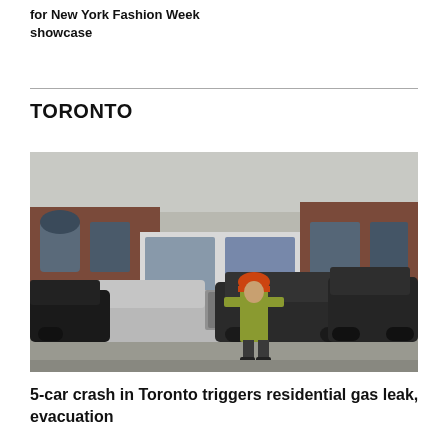for New York Fashion Week showcase   across Ca
TORONTO
[Figure (photo): A firefighter in full gear walks past two severely damaged cars following a multi-car crash on a residential street. Brick houses visible in the background.]
5-car crash in Toronto triggers residential gas leak, evacuation